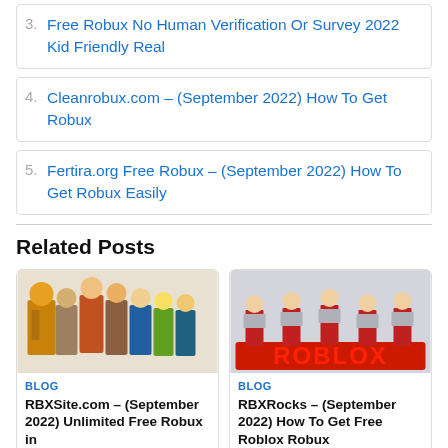3. Free Robux No Human Verification Or Survey 2022 Kid Friendly Real
4. Cleanrobux.com – (September 2022) How To Get Robux
5. Fertira.org Free Robux – (September 2022) How To Get Robux Easily
Related Posts
[Figure (illustration): Group of Roblox character figurines with weapons and costumes]
BLOG
RBXSite.com – (September 2022) Unlimited Free Robux in
[Figure (illustration): Roblox characters standing on red ROBLOX logo text]
BLOG
RBXRocks – (September 2022) How To Get Free Roblox Robux